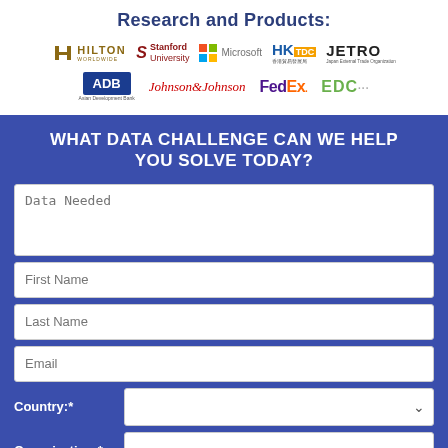Research and Products:
[Figure (logo): Logos of partner organizations: Hilton Worldwide, Stanford University, Microsoft, HKTDC, JETRO, ADB (Asian Development Bank), Johnson & Johnson, FedEx, EDC]
WHAT DATA CHALLENGE CAN WE HELP YOU SOLVE TODAY?
Data Needed [textarea field]
First Name [input field]
Last Name [input field]
Email [input field]
Country:* [dropdown field]
Organization:* [dropdown field]